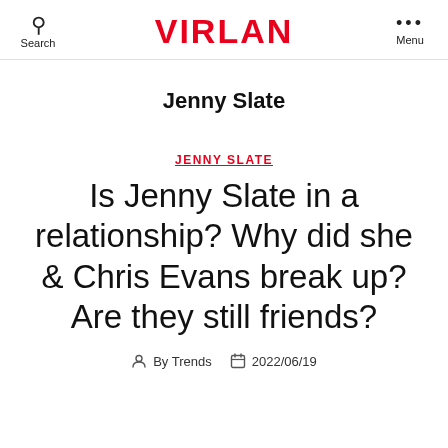Search | VIRLAN | Menu
Jenny Slate
JENNY SLATE
Is Jenny Slate in a relationship? Why did she & Chris Evans break up? Are they still friends?
By Trends   2022/06/19